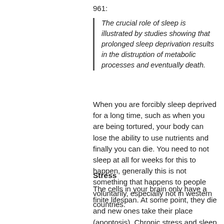961:
The crucial role of sleep is illustrated by studies showing that prolonged sleep deprivation results in the distruption of metabolic processes and eventually death.
When you are forcibly sleep deprived for a long time, such as when you are being tortured, your body can lose the ability to use nutrients and finally you can die. You need to not sleep at all for weeks for this to happen, generally this is not something that happens to people voluntarily, especially not in western countries.
Stress
The cells in your brain only have a finite lifespan. At some point, they die and new ones take their place (apoptosis). Chronic stress and sleep deprivation can speed up this process, accelerating aging.